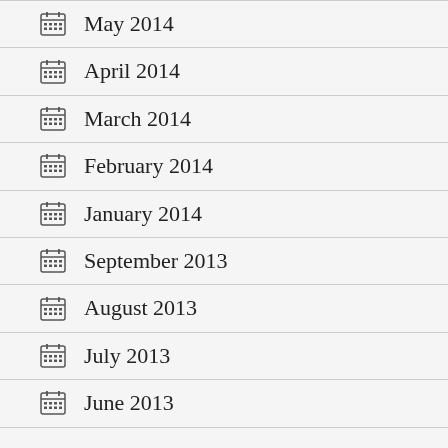May 2014
April 2014
March 2014
February 2014
January 2014
September 2013
August 2013
July 2013
June 2013